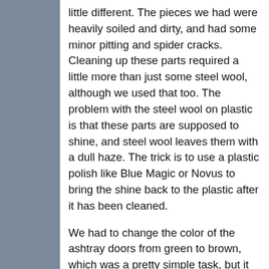little different. The pieces we had were heavily soiled and dirty, and had some minor pitting and spider cracks. Cleaning up these parts required a little more than just some steel wool, although we used that too. The problem with the steel wool on plastic is that these parts are supposed to shine, and steel wool leaves them with a dull haze. The trick is to use a plastic polish like Blue Magic or Novus to bring the shine back to the plastic after it has been cleaned.
We had to change the color of the ashtray doors from green to brown, which was a pretty simple task, but it pays to take your time and properly prep the surface. We went through the entire process of cleaning up these trim pieces and have laid out the tricks here for you to use. These techniques will work on just about anything that